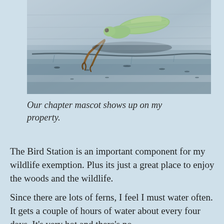[Figure (photo): Close-up photo of a green praying mantis (the chapter mascot) resting on a rough textured surface, with its legs visible and body angled diagonally.]
Our chapter mascot shows up on my property.
The Bird Station is an important component for my wildlife exemption. Plus its just a great place to enjoy the woods and the wildlife.
Since there are lots of ferns, I feel I must water often. It gets a couple of hours of water about every four days. It's very hot and there's no